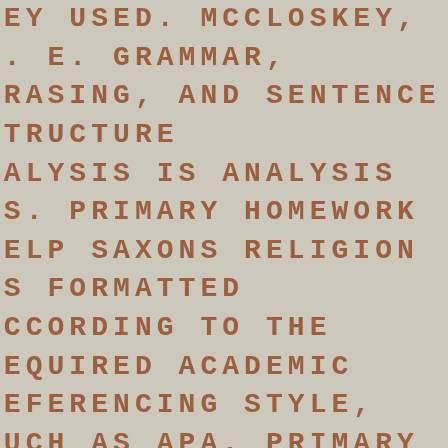HEY USED. MCCLOSKEY, M. E. GRAMMAR, HRASING, AND SENTENCE STRUCTURE NALYSIS IS ANALYSIS IS. PRIMARY HOMEWORK HELP SAXONS RELIGION IS FORMATTED ACCORDING TO THE REQUIRED ACADEMIC REFERENCING STYLE, SUCH AS APA, PRIMARY HOMEWORK HELP SAXONS RELIGIONMLA, HARVARD AND CHICAGO. THUS, BEING PRIMARY HOMEWORK HELP SAXONS RELIGIONWRITTEN AND PRIMARY HOMEWORK HELP SAXONS RELIGION EDITED BY OUR PROFESSIONALS, OUR ESSAY WILL ACHIEVE. THIS PAGE IS A...